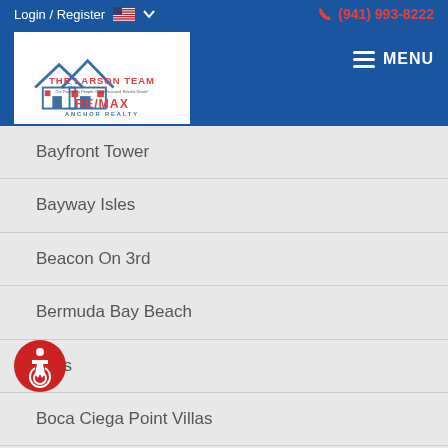Login / Register | (941) 993-8222 | MENU
[Figure (logo): The Larson Team RE/MAX Anchor Realty logo with house roof illustration]
Bayfront Tower
Bayway Isles
Beacon On 3rd
Bermuda Bay Beach
Bliss
Boca Ciega Point Villas
Boca Ciega Resort & Marina
rbon Street Bungalows
Bridgeton North...